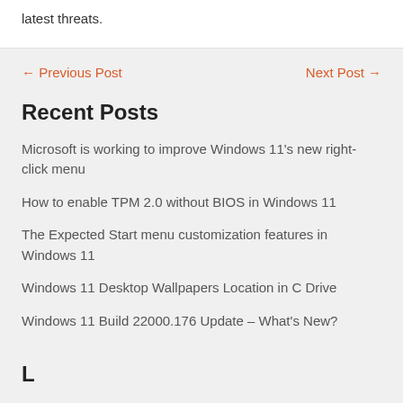latest threats.
← Previous Post    Next Post →
Recent Posts
Microsoft is working to improve Windows 11's new right-click menu
How to enable TPM 2.0 without BIOS in Windows 11
The Expected Start menu customization features in Windows 11
Windows 11 Desktop Wallpapers Location in C Drive
Windows 11 Build 22000.176 Update – What's New?